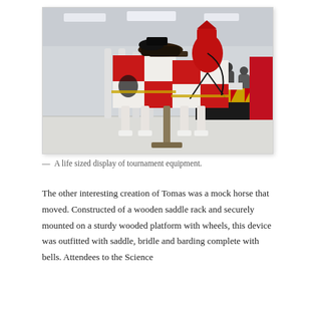[Figure (photo): A life-sized display of tournament equipment in an indoor exhibition space. A mock horse covered in red and white heraldic fabric barding stands in the foreground. The horse has a saddle on top with black items. In the background, people and other display tables with black, yellow, and red draped cloths are visible.]
— A life sized display of tournament equipment.
The other interesting creation of Tomas was a mock horse that moved. Constructed of a wooden saddle rack and securely mounted on a sturdy wooded platform with wheels, this device was outfitted with saddle, bridle and barding complete with bells. Attendees to the Science